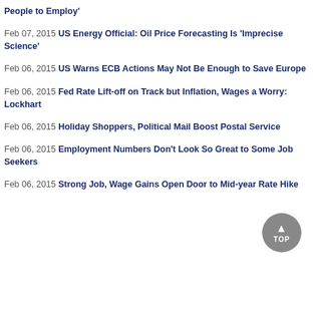People to Employ'
Feb 07, 2015 US Energy Official: Oil Price Forecasting Is 'Imprecise Science'
Feb 06, 2015 US Warns ECB Actions May Not Be Enough to Save Europe
Feb 06, 2015 Fed Rate Lift-off on Track but Inflation, Wages a Worry: Lockhart
Feb 06, 2015 Holiday Shoppers, Political Mail Boost Postal Service
Feb 06, 2015 Employment Numbers Don't Look So Great to Some Job Seekers
Feb 06, 2015 Strong Job, Wage Gains Open Door to Mid-year Rate Hike